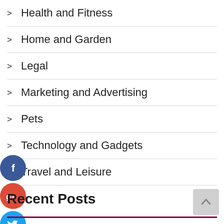> Health and Fitness
> Home and Garden
> Legal
> Marketing and Advertising
> Pets
> Technology and Gadgets
> Travel and Leisure
[Figure (illustration): Social media icons: Facebook (blue), Google+ (red), Twitter (light blue), Plus button (dark blue)]
Recent Posts